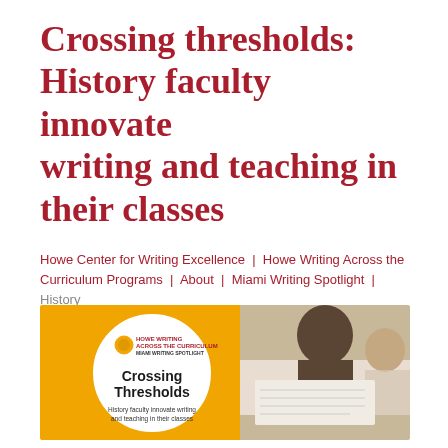Crossing thresholds: History faculty innovate writing and teaching in their classes
Howe Center for Writing Excellence | Howe Writing Across the Curriculum Programs | About | Miami Writing Spotlight | History
[Figure (illustration): Promotional banner image with orange background and white circle containing 'HOWE WRITING ACROSS THE CURRICULUM MIAMI WRITING SPOTLIGHT' logo and text 'Crossing Thresholds - History faculty innovate writing and teaching in their classes', alongside a photo of students writing at a desk.]